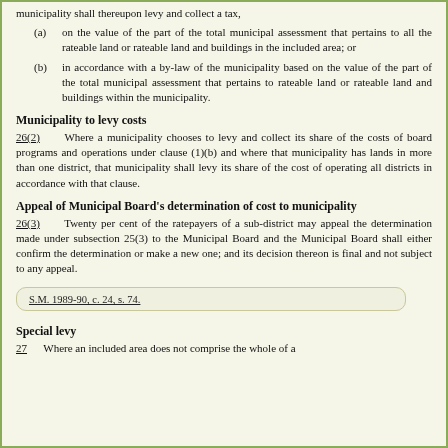municipality shall thereupon levy and collect a tax,
(a) on the value of the part of the total municipal assessment that pertains to all the rateable land or rateable land and buildings in the included area; or
(b) in accordance with a by-law of the municipality based on the value of the part of the total municipal assessment that pertains to rateable land or rateable land and buildings within the municipality.
Municipality to levy costs
26(2)      Where a municipality chooses to levy and collect its share of the costs of board programs and operations under clause (1)(b) and where that municipality has lands in more than one district, that municipality shall levy its share of the cost of operating all districts in accordance with that clause.
Appeal of Municipal Board's determination of cost to municipality
26(3)      Twenty per cent of the ratepayers of a sub-district may appeal the determination made under subsection 25(3) to the Municipal Board and the Municipal Board shall either confirm the determination or make a new one; and its decision thereon is final and not subject to any appeal.
S.M. 1989-90, c. 24, s. 74.
Special levy
27      Where an included area does not comprise the whole of a